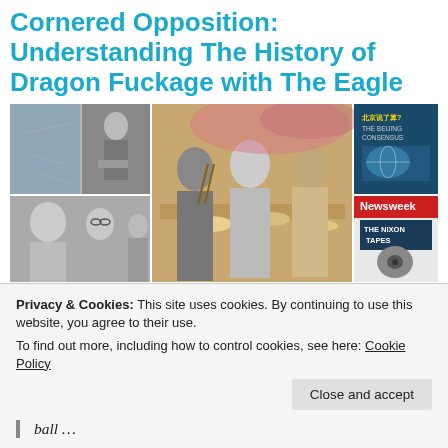Cornered Opposition: Understanding The History of Dragon Fuckage with The Eagle
[Figure (photo): Photo collage showing multiple images: a map of Asia, a person speaking at a podium, a dinner scene with Chinese and American officials using chopsticks, a woman speaking, people in suits, a book cover 'The Beijing Consensus', and a Newsweek magazine cover 'The Nixon Tapes']
If you want to play in the big leagues, you have to know what strategies the other side plays TIME and TIME and TIME again. COUCH. Knowing that the ball …
Privacy & Cookies: This site uses cookies. By continuing to use this website, you agree to their use.
To find out more, including how to control cookies, see here: Cookie Policy
Close and accept